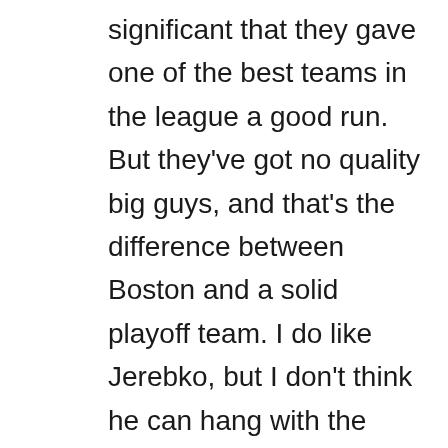significant that they gave one of the best teams in the league a good run. But they've got no quality big guys, and that's the difference between Boston and a solid playoff team. I do like Jerebko, but I don't think he can hang with the league's better forwards. Zeller and Olynyk I like, but neither of them can control the paint, on either end of the floor. Sullinger…it remains to be seen if he'll become anything at all. I think his best ceiling is on the